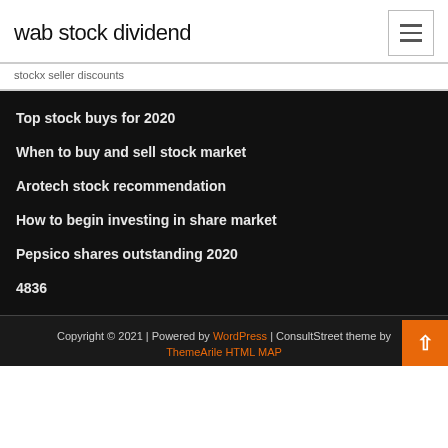wab stock dividend
stockx seller discounts
Top stock buys for 2020
When to buy and sell stock market
Arotech stock recommendation
How to begin investing in share market
Pepsico shares outstanding 2020
4836
Copyright © 2021 | Powered by WordPress | ConsultStreet theme by ThemeArile HTML MAP